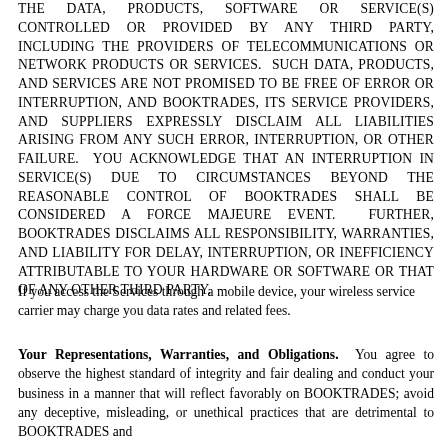THE DATA, PRODUCTS, SOFTWARE OR SERVICE(S) CONTROLLED OR PROVIDED BY ANY THIRD PARTY, INCLUDING THE PROVIDERS OF TELECOMMUNICATIONS OR NETWORK PRODUCTS OR SERVICES.  SUCH DATA, PRODUCTS, AND SERVICES ARE NOT PROMISED TO BE FREE OF ERROR OR INTERRUPTION, AND BOOKTRADES, ITS SERVICE PROVIDERS, AND SUPPLIERS EXPRESSLY DISCLAIM ALL LIABILITIES ARISING FROM ANY SUCH ERROR, INTERRUPTION, OR OTHER FAILURE.  YOU ACKNOWLEDGE THAT AN INTERRUPTION IN SERVICE(S) DUE TO CIRCUMSTANCES BEYOND THE REASONABLE CONTROL OF BOOKTRADES SHALL BE CONSIDERED A FORCE MAJEURE EVENT.  FURTHER, BOOKTRADES DISCLAIMS ALL RESPONSIBILITY, WARRANTIES, AND LIABILITY FOR DELAY, INTERRUPTION, OR INEFFICIENCY ATTRIBUTABLE TO YOUR HARDWARE OR SOFTWARE OR THAT OF ANY OTHER THIRD PARTY.
If you access the Services through a mobile device, your wireless service carrier may charge you data rates and related fees.
Your Representations, Warranties, and Obligations.  You agree to observe the highest standard of integrity and fair dealing and conduct your business in a manner that will reflect favorably on BOOKTRADES; avoid any deceptive, misleading, or unethical practices that are detrimental to BOOKTRADES and...